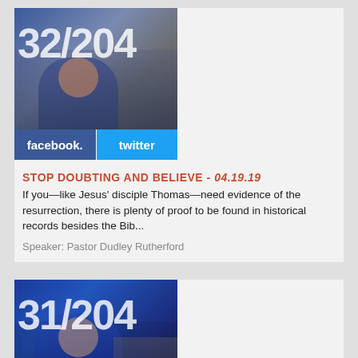[Figure (screenshot): Thumbnail image showing a preacher/speaker with overlay text '32/204' and a blue-tinted background]
[Figure (screenshot): Social sharing bar with Facebook and Twitter buttons]
STOP DOUBTING AND BELIEVE - 04.19.19
If you—like Jesus' disciple Thomas—need evidence of the resurrection, there is plenty of proof to be found in historical records besides the Bib...
Speaker: Pastor Dudley Rutherford
[Figure (screenshot): Thumbnail image showing a speaker/pastor with overlay text '31/204' and a blue background]
[Figure (screenshot): Social sharing bar partially visible at the bottom of the second card]